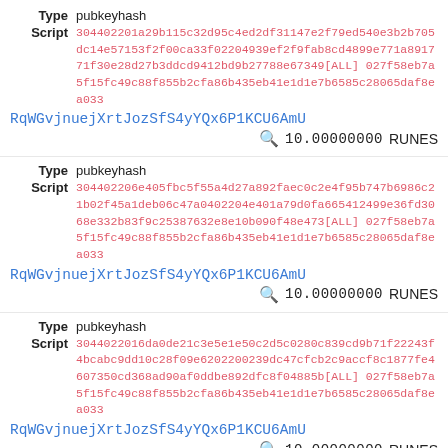Type pubkeyhash
Script 304402201a29b115c32d95c4ed2df31147e2f79ed540e3b2b705dc14e57153f2f00ca33f02204939ef2f9fab8cd4899e771a891771f30e28d27b3ddcd9412bd9b27788e67349[ALL] 027f58eb7a5f15fc49c88f855b2cfa86b435eb41e1d1e7b6585c28065daf8ea033
RqWGvjnuejXrtJozSfS4yYQx6P1KCU6AmU
10.00000000 RUNES
Type pubkeyhash
Script 304402206e405fbc5f55a4d27a892faec0c2e4f95b747b6986c21b02f45a1deb06c47a0402204e401a79d0fa665412499e36fd3068e332b83f9c25387632e8e10b090f48e473[ALL] 027f58eb7a5f15fc49c88f855b2cfa86b435eb41e1d1e7b6585c28065daf8ea033
RqWGvjnuejXrtJozSfS4yYQx6P1KCU6AmU
10.00000000 RUNES
Type pubkeyhash
Script 3044022016da0de21c3e5e1e50c2d5c0280c839cd9b71f22243f4bcabc9dd10c28f09e6202200239dc47cfcb2c9accf8c1877fe4607350cd368ad90af0ddbe892dfc8f04885b[ALL] 027f58eb7a5f15fc49c88f855b2cfa86b435eb41e1d1e7b6585c28065daf8ea033
RqWGvjnuejXrtJozSfS4yYQx6P1KCU6AmU
10.00000000 RUNES